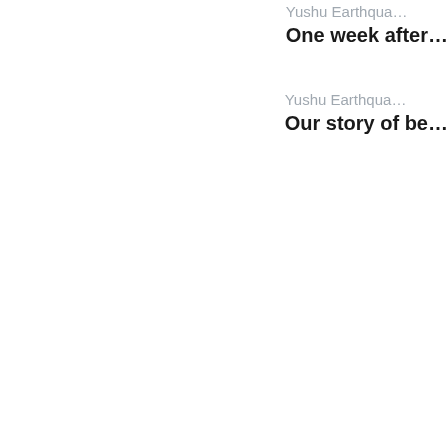Yushu Earthqua…
One week after…
Yushu Earthqua…
Our story of be…